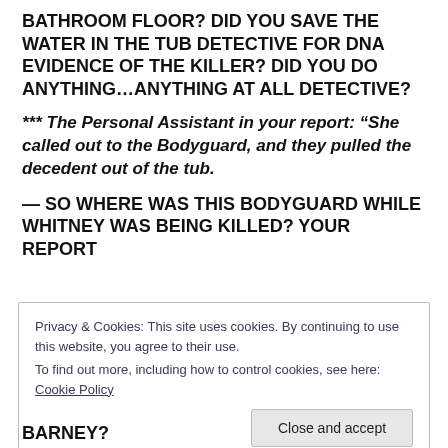ANY INVESTIGATION AS TO FIBERS ON THE BATHROOM FLOOR? DID YOU SAVE THE WATER IN THE TUB DETECTIVE FOR DNA EVIDENCE OF THE KILLER? DID YOU DO ANYTHING…ANYTHING AT ALL DETECTIVE?
*** The Personal Assistant in your report: “She called out to the Bodyguard, and they pulled the decedent out of the tub.
— SO WHERE WAS THIS BODYGUARD WHILE WHITNEY WAS BEING KILLED? YOUR REPORT
Privacy & Cookies: This site uses cookies. By continuing to use this website, you agree to their use.
To find out more, including how to control cookies, see here: Cookie Policy
BARNEY?